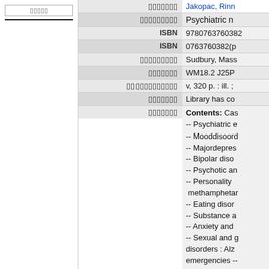| Field | Value |
| --- | --- |
| ββββββ | βββββββββββ / Jakopac, Rinn... |
| βββββββββββ | Psychiatric n... |
| ISBN | 9780763760382... |
| ISBN | 0763760382(p... |
| βββββββββββ | Sudbury, Mass... |
| βββββββββ | WM18.2 J25P... |
| ββββββββββββββ | v, 320 p. : ill. ;... |
| βββββββββ | Library has co... |
| βββββββββ | Contents: Cas... -- Psychiatric e... -- Mooddisoord... -- Majordepres... -- Bipolar diso... -- Psychotic an... -- Personality ... methamphetar... -- Eating disor... -- Substance a... -- Anxiety and... -- Sexual and g... disorders : Alz... emergencies -- benzodiazepir... |